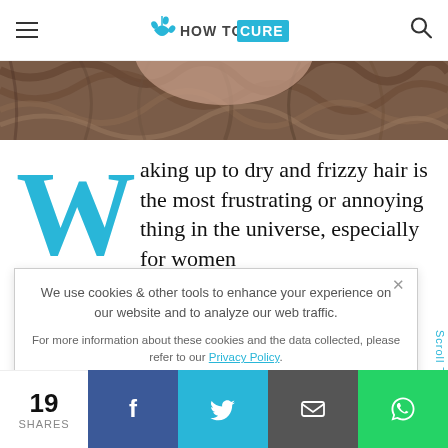HOW TO CURE
[Figure (photo): Close-up photo of a person with curly/frizzy dark hair, cropped to show only the top of the head]
Waking up to dry and frizzy hair is the most frustrating or annoying thing in the universe, especially for women ... ss your hair ... is a ... rough ... ain dam...
We use cookies & other tools to enhance your experience on our website and to analyze our web traffic.

For more information about these cookies and the data collected, please refer to our Privacy Policy.
I ACCEPT USE OF COOKIES
Scroll To
19
SHARES